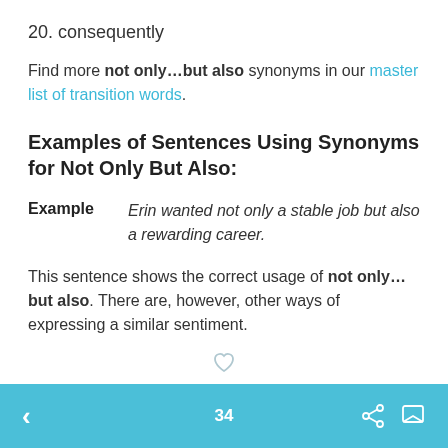20. consequently
Find more not only...but also synonyms in our master list of transition words.
Examples of Sentences Using Synonyms for Not Only But Also:
Example   Erin wanted not only a stable job but also a rewarding career.
This sentence shows the correct usage of not only...but also. There are, however, other ways of expressing a similar sentiment.
34